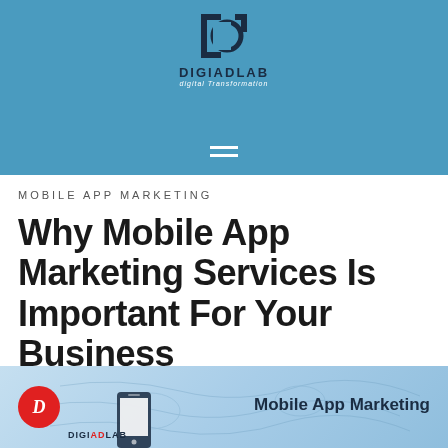[Figure (logo): DigiAdLab logo - circular D icon in dark blue/white with DIGIADLAB text and 'digital Transformation' subtitle, on a blue background with hamburger menu icon at bottom]
MOBILE APP MARKETING
Why Mobile App Marketing Services Is Important For Your Business
POSTED SEPTEMBER 17, 2019   DIGIADLAB
[Figure (photo): Mobile App Marketing banner image with DigiAdLab logo, red circular D icon, phone graphic, and 'Mobile App Marketing' text on light blue background with world map]